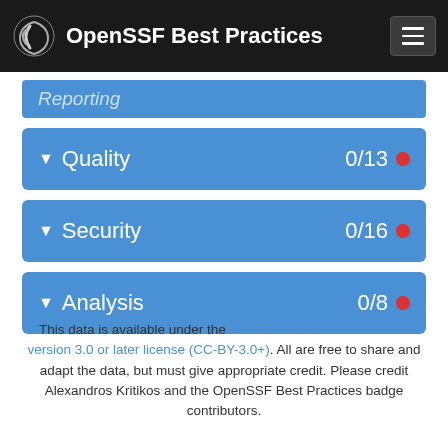OpenSSF Best Practices
Reporting
Quality 0/13
Security 0/16
Analysis 0/8
This data is available under the Creative Commons Attribution version 3.0 or later license (CC-BY-3.0+). All are free to share and adapt the data, but must give appropriate credit. Please credit Alexandros Kritikos and the OpenSSF Best Practices badge contributors.
Project badge entry owned by: Alexandros Kritikos. Entry created on 2017-12-02 08:51:24 UTC, last updated on